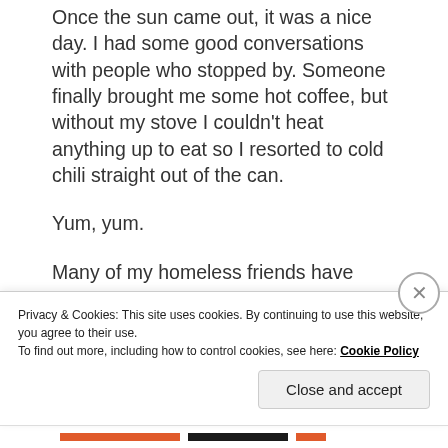Once the sun came out, it was a nice day. I had some good conversations with people who stopped by. Someone finally brought me some hot coffee, but without my stove I couldn't heat anything up to eat so I resorted to cold chili straight out of the can.
Yum, yum.
Many of my homeless friends have
Privacy & Cookies: This site uses cookies. By continuing to use this website, you agree to their use.
To find out more, including how to control cookies, see here: Cookie Policy
Close and accept